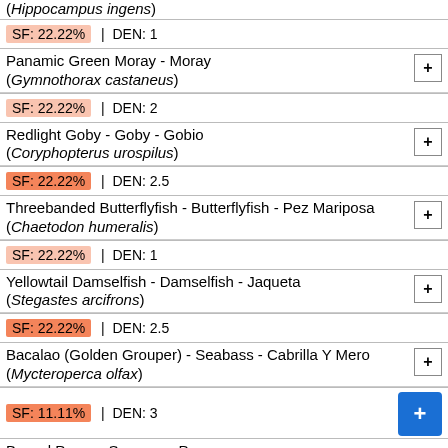(Hippocampus ingens)
SF: 22.22% | DEN: 1 — Panamic Green Moray - Moray (Gymnothorax castaneus)
SF: 22.22% | DEN: 2 — Redlight Goby - Goby - Gobio (Coryphopterus urospilus)
SF: 22.22% | DEN: 2.5 — Threebanded Butterflyfish - Butterflyfish - Pez Mariposa (Chaetodon humeralis)
SF: 22.22% | DEN: 1 — Yellowtail Damselfish - Damselfish - Jaqueta (Stegastes arcifrons)
SF: 22.22% | DEN: 2.5 — Bacalao (Golden Grouper) - Seabass - Cabrilla Y Mero (Mycteroperca olfax)
SF: 11.11% | DEN: 3 — Barred Pargo - Snapper - Pargo (Hoplonagrus guentherii)